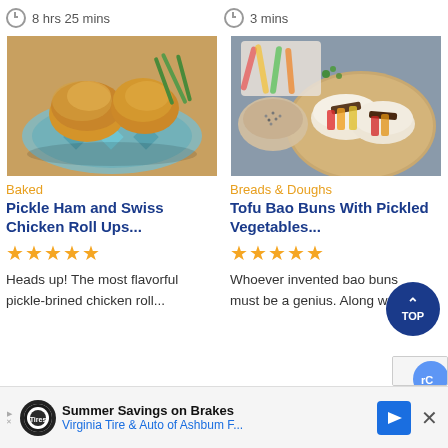8 hrs 25 mins
3 mins
[Figure (photo): Baked breaded chicken roll-ups on a decorative plate with green beans]
[Figure (photo): Tofu bao buns with pickled vegetables in a steamer basket, with colorful pepper strips]
Baked
Breads & Doughs
Pickle Ham and Swiss Chicken Roll Ups...
Tofu Bao Buns With Pickled Vegetables...
★★★★★
★★★★★
Heads up! The most flavorful pickle-brined chicken roll...
Whoever invented bao buns must be a genius. Along w
Summer Savings on Brakes  Virginia Tire & Auto of Ashbum F...